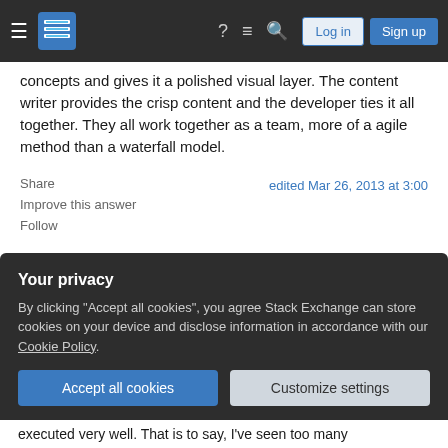Stack Exchange navigation bar with Log in and Sign up buttons
concepts and gives it a polished visual layer. The content writer provides the crisp content and the developer ties it all together. They all work together as a team, more of a agile method than a waterfall model.
Share
edited Mar 26, 2013 at 3:00
Improve this answer
Follow
answered Mar 26, 2013 at 2:27
rk.
Your privacy
By clicking "Accept all cookies", you agree Stack Exchange can store cookies on your device and disclose information in accordance with our Cookie Policy.
Accept all cookies
Customize settings
executed very well. That is to say, I've seen too many